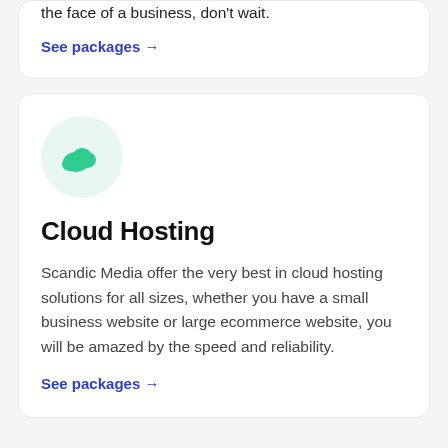the face of a business, don't wait.
See packages →
[Figure (illustration): Green cloud icon centered in a light green circle]
Cloud Hosting
Scandic Media offer the very best in cloud hosting solutions for all sizes, whether you have a small business website or large ecommerce website, you will be amazed by the speed and reliability.
See packages →